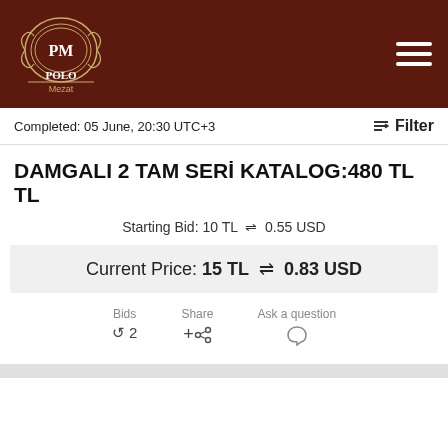[Figure (logo): Polo Mezat auction site logo — ornate circular emblem with PM initials, text POLO Mezat below, on dark brown header bar with hamburger menu icon]
Completed: 05 June, 20:30 UTC+3
Filter
DAMGALI 2 TAM SERİ KATALOG:480 TL TL
Starting Bid: 10 TL ⇌ 0.55 USD
Current Price: 15 TL ⇌ 0.83 USD
Bids
↺ 2
Share
Ask a question
Go to Page:  1 ▼ / 8  >